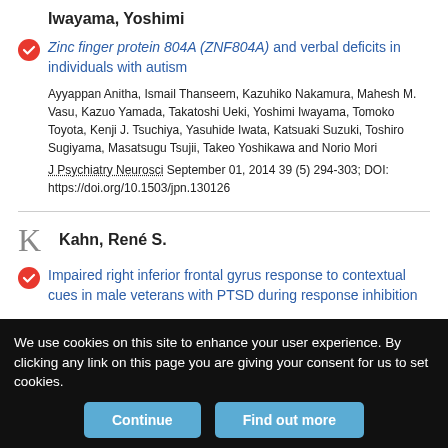Iwayama, Yoshimi
Zinc finger protein 804A (ZNF804A) and verbal deficits in individuals with autism
Ayyappan Anitha, Ismail Thanseem, Kazuhiko Nakamura, Mahesh M. Vasu, Kazuo Yamada, Takatoshi Ueki, Yoshimi Iwayama, Tomoko Toyota, Kenji J. Tsuchiya, Yasuhide Iwata, Katsuaki Suzuki, Toshiro Sugiyama, Masatsugu Tsujii, Takeo Yoshikawa and Norio Mori
J Psychiatry Neurosci September 01, 2014 39 (5) 294-303; DOI: https://doi.org/10.1503/jpn.130126
Kahn, René S.
Impaired right inferior frontal gyrus response to contextual cues in male veterans with PTSD during response inhibition
We use cookies on this site to enhance your user experience. By clicking any link on this page you are giving your consent for us to set cookies.